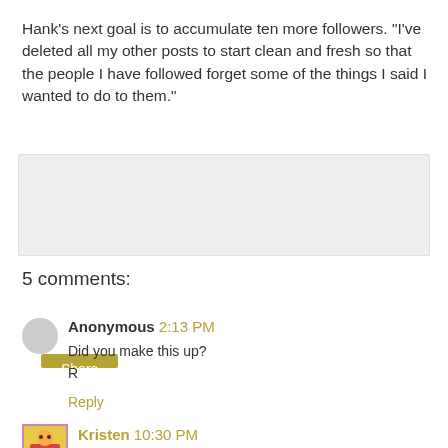Hank's next goal is to accumulate ten more followers. "I've deleted all my other posts to start clean and fresh so that the people I have followed forget some of the things I said I wanted to do to them."
[Figure (other): Share button inside a light gray box]
5 comments:
Anonymous 2:13 PM
Did you make this up?
R
Reply
Kristen 10:30 PM